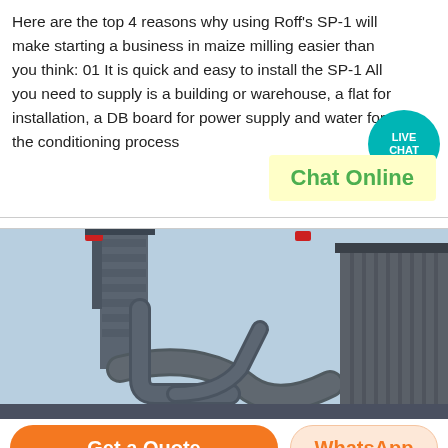Here are the top 4 reasons why using Roff's SP-1 will make starting a business in maize milling easier than you think: 01 It is quick and easy to install the SP-1 All you need to supply is a building or warehouse, a flat for installation, a DB board for power supply and water for the conditioning process
[Figure (other): Live Chat bubble icon with teal circular background and speech bubble tail]
Chat Online
[Figure (photo): Industrial machinery photo showing large metal pipes, ductwork, silos and industrial building structures against a light blue sky]
Get a Quote
WhatsApp